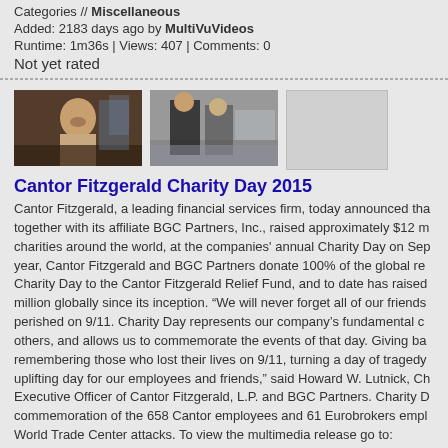Categories // Miscellaneous
Added: 2183 days ago by MultiVuVideos
Runtime: 1m36s | Views: 407 | Comments: 0
Not yet rated
[Figure (photo): Three video thumbnails: a man with beard in office setting, two people in a trading floor/office, and a blank gray placeholder]
Cantor Fitzgerald Charity Day 2015
Cantor Fitzgerald, a leading financial services firm, today announced tha together with its affiliate BGC Partners, Inc., raised approximately $12 m charities around the world, at the companies' annual Charity Day on Sep year, Cantor Fitzgerald and BGC Partners donate 100% of the global re Charity Day to the Cantor Fitzgerald Relief Fund, and to date has raised million globally since its inception. “We will never forget all of our friends perished on 9/11. Charity Day represents our company’s fundamental c others, and allows us to commemorate the events of that day. Giving ba remembering those who lost their lives on 9/11, turning a day of tragedy uplifting day for our employees and friends,” said Howard W. Lutnick, Ch Executive Officer of Cantor Fitzgerald, L.P. and BGC Partners. Charity D commemoration of the 658 Cantor employees and 61 Eurobrokers empl World Trade Center attacks. To view the multimedia release go to: http://www.multivu.com/players/English/7620751-cantor-bgc-partners-ch
Tags // cantor fitzgerald charity day celebrities jake gyllenhaal r rodriguez rumer willis lily aldridge donati
Categories // Miscellaneous